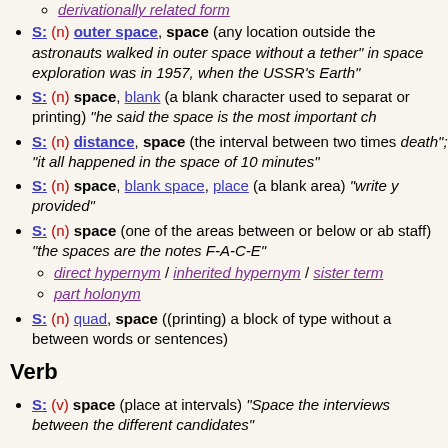derivationally related form
S: (n) outer space, space (any location outside the astronauts walked in outer space without a tether" in space exploration was in 1957, when the USSR's Earth"
S: (n) space, blank (a blank character used to separate or printing) "he said the space is the most important ch
S: (n) distance, space (the interval between two times death"; "it all happened in the space of 10 minutes"
S: (n) space, blank space, place (a blank area) "write p provided"
S: (n) space (one of the areas between or below or ab staff) "the spaces are the notes F-A-C-E"
direct hypernym / inherited hypernym / sister term
part holonym
S: (n) quad, space ((printing) a block of type without a between words or sentences)
Verb
S: (v) space (place at intervals) "Space the interviews between the different candidates"